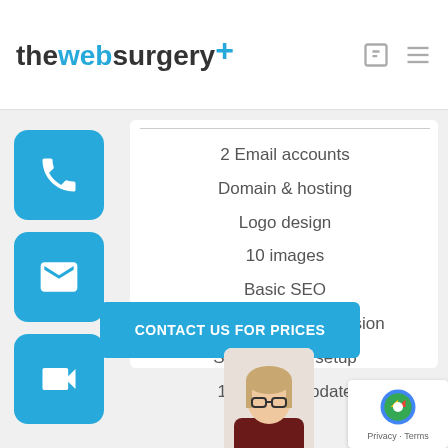[Figure (logo): thewebsurgery+ logo with cyan plus icon, shopping bag and hamburger menu icons]
[Figure (infographic): Cyan rounded square button with white phone icon]
[Figure (infographic): Cyan rounded square button with white email/envelope icon]
[Figure (infographic): Cyan rounded square button with white video camera icon]
2 Email accounts
Domain & hosting
Logo design
10 images
Basic SEO
Search engine submission
Social media setup
1 software update
[Figure (infographic): Cyan button with text CONTACT US FOR PRICES]
[Figure (photo): Chat avatar photo of a woman with glasses]
[Figure (other): Google reCAPTCHA badge with Privacy and Terms links]